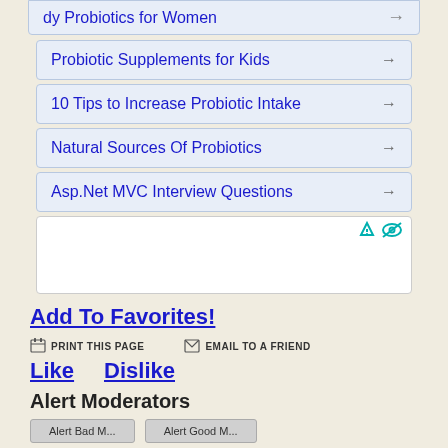Probiotic Supplements for Kids →
10 Tips to Increase Probiotic Intake →
Natural Sources Of Probiotics →
Asp.Net MVC Interview Questions →
Add To Favorites!
PRINT THIS PAGE   EMAIL TO A FRIEND
Like   Dislike
Alert Moderators